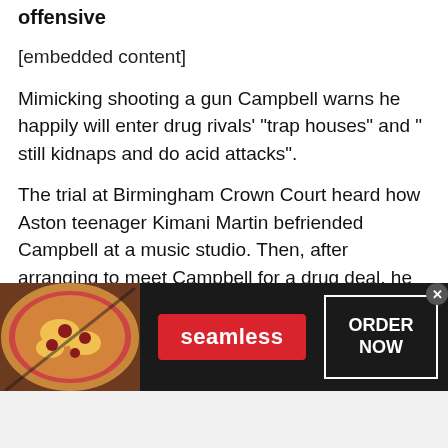WARNING: Video contains language viewers may find offensive
[embedded content]
Mimicking shooting a gun Campbell warns he happily will enter drug rivals' “trap houses” and “ still kidnaps and do acid attacks”.
The trial at Birmingham Crown Court heard how Aston teenager Kimani Martin befriended Campbell at a music studio. Then, after arranging to meet Campbell for a drug deal, he kidnapped him and Luke Adams at gunpoint, forcing them to hand over money and a mobile phone with a “drugs hotline” as its number.
[Figure (other): Seamless food delivery advertisement banner showing pizza image on left, red Seamless logo button in center, and ORDER NOW button on right with close (x) button]